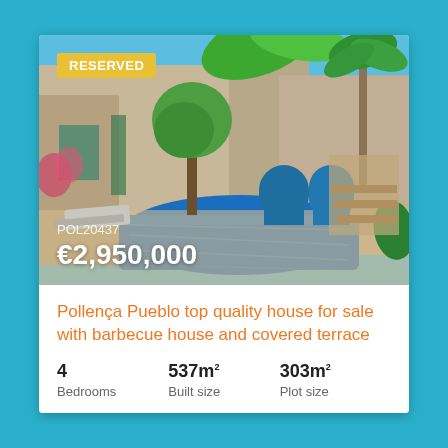[Figure (photo): Exterior courtyard of a Mediterranean stone house with a blue swimming pool, lounge chairs, palm trees, lush greenery, and blue-tiled arched doorways in the background. A 'RESERVED' badge is overlaid in the top left corner.]
RESERVED
POL20437
€2,950,000
Pollença Pueblo top quality house for sale with barbecue house and covered terrace
4 Bedrooms
537m² Built size
303m² Plot size